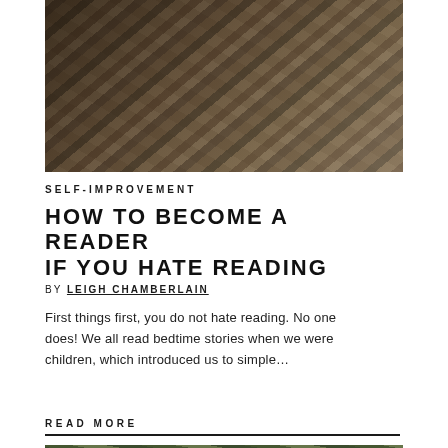[Figure (photo): Overhead view of books stacked and spread on a surface, appearing to be a bookstore or library display]
SELF-IMPROVEMENT
HOW TO BECOME A READER IF YOU HATE READING
BY LEIGH CHAMBERLAIN
First things first, you do not hate reading. No one does! We all read bedtime stories when we were children, which introduced us to simple…
READ MORE
[Figure (photo): Partial photo visible at bottom of page, appears to show outdoor greenery or nature scene]